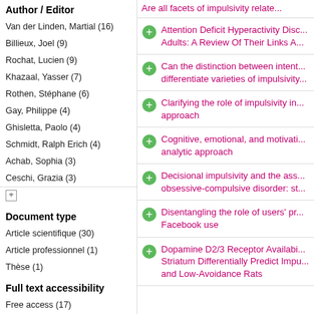Author / Editor
Van der Linden, Martial (16)
Billieux, Joel (9)
Rochat, Lucien (9)
Khazaal, Yasser (7)
Rothen, Stéphane (6)
Gay, Philippe (4)
Ghisletta, Paolo (4)
Schmidt, Ralph Erich (4)
Achab, Sophia (3)
Ceschi, Grazia (3)
Document type
Article scientifique (30)
Article professionnel (1)
Thèse (1)
Full text accessibility
Free access (17)
Restricted access (14)
Are all facets of impulsivity relate...
Attention Deficit Hyperactivity Disc... Adults: A Review Of Their Links A...
Can the distinction between intent... differentiate varieties of impulsivity...
Clarifying the role of impulsivity in... approach
Cognitive, emotional, and motivati... analytic approach
Decisional impulsivity and the ass... obsessive-compulsive disorder: st...
Disentangling the role of users' pr... Facebook use
Dopamine D2/3 Receptor Availabi... Striatum Differentially Predict Impu... and Low-Avoidance Rats